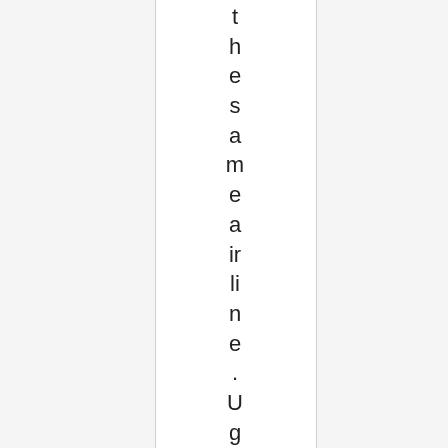the same airline. Ugh. I've got